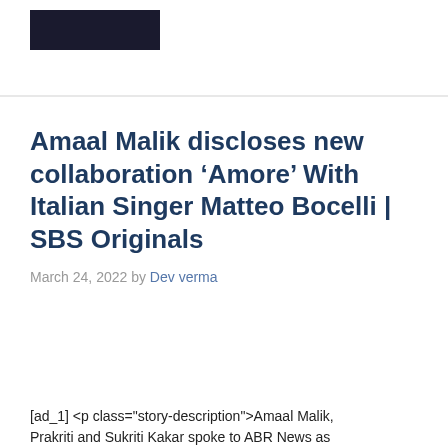[Figure (logo): Dark rectangular logo block in top left header area]
Amaal Malik discloses new collaboration ‘Amore’ With Italian Singer Matteo Bocelli | SBS Originals
March 24, 2022 by Dev verma
[ad_1] <p class="story-description">Amaal Malik, Prakriti and Sukriti Kakar spoke to ABR News as